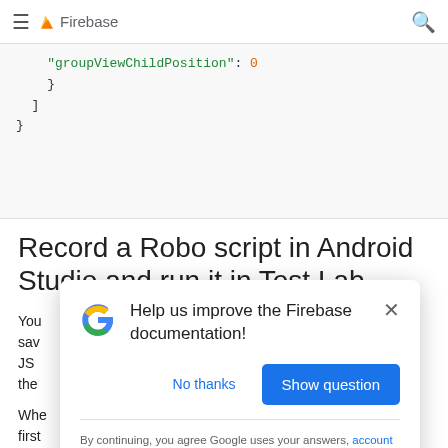≡ Firebase
[Figure (screenshot): Code block showing JSON with 'groupViewChildPosition': 0, closing braces and brackets]
Record a Robo script in Android Studio and run it in Test Lab
You ... save ... JSON ... run the ...
Whe ... est first ... steps through your pre-scripted actions and then...
[Figure (screenshot): Modal dialog: Help us improve the Firebase documentation! with No thanks and Show question buttons, and footer text about Google account & system info, Privacy and Terms.]